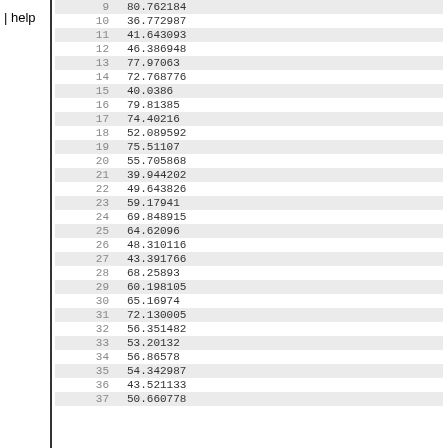help
| row | value |
| --- | --- |
| 9 | 80.762184 |
| 10 | 36.772987 |
| 11 | 41.643093 |
| 12 | 46.386948 |
| 13 | 77.97063 |
| 14 | 72.768776 |
| 15 | 40.0386 |
| 16 | 79.81385 |
| 17 | 74.40216 |
| 18 | 52.089592 |
| 19 | 75.51107 |
| 20 | 55.705868 |
| 21 | 39.944202 |
| 22 | 49.643826 |
| 23 | 59.17941 |
| 24 | 69.848915 |
| 25 | 64.62096 |
| 26 | 48.310116 |
| 27 | 43.391766 |
| 28 | 68.25893 |
| 29 | 60.198105 |
| 30 | 65.16974 |
| 31 | 72.130005 |
| 32 | 56.351482 |
| 33 | 53.20132 |
| 34 | 56.86578 |
| 35 | 54.342987 |
| 36 | 43.521133 |
| 37 | 50.660778 |